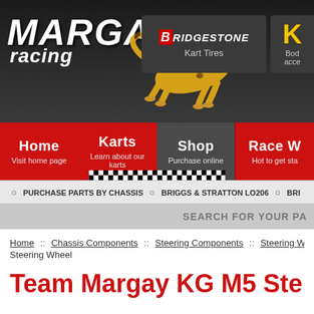[Figure (logo): Margay Racing logo with cheetah, Bridgestone Kart Tires sponsor box, and partial K sponsor box on dark header background]
[Figure (infographic): Navigation menu bar with Home (Visit home page), Karts (Learn about our karts), Shop (Purchase online), Race W... (Hot to get sta...) — red and dark grey buttons with checkered flag strip under Shop]
○ PURCHASE PARTS BY CHASSIS  ○ BRIGGS & STRATTON LO206  ○ BRI...
SEARCH FOR YOUR PA...
Home :: Chassis Components :: Steering Components :: Steering Wheels :: Steering Wheel
Team Margay KG M5 Ste...